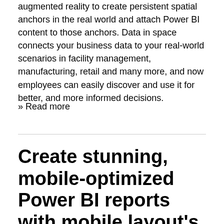augmented reality to create persistent spatial anchors in the real world and attach Power BI content to those anchors. Data in space connects your business data to your real-world scenarios in facility management, manufacturing, retail and many more, and now employees can easily discover and use it for better, and more informed decisions.
» Read more
Create stunning, mobile-optimized Power BI reports with mobile layout's new visual formatting pane (Preview)